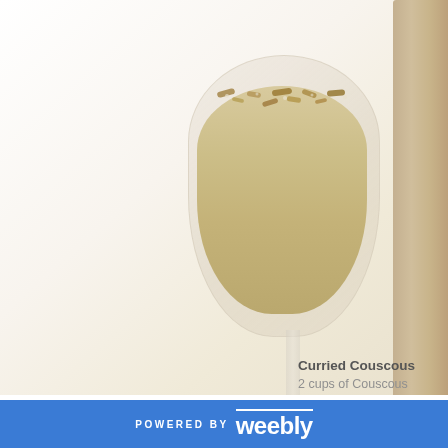[Figure (photo): A creamy smoothie or curried couscous drink served in a clear wine glass, garnished with toppings. A tall pale bottle is visible to the right. The background is white/cream.]
Curried Couscous
2 cups of Couscous
POWERED BY weebly